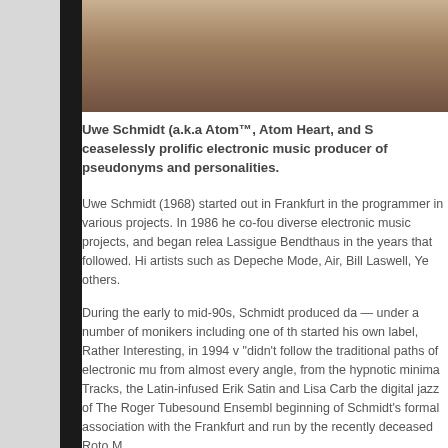[Figure (photo): Partial photo of Uwe Schmidt, cropped at top, showing upper body in light-colored clothing against a dark background]
Uwe Schmidt (a.k.a Atom™, Atom Heart, and S ceaselessly prolific electronic music producer of pseudonyms and personalities.
Uwe Schmidt (1968) started out in Frankfurt in the programmer in various projects. In 1986 he co-fou diverse electronic music projects, and began relea Lassigue Bendthaus in the years that followed. Hi artists such as Depeche Mode, Air, Bill Laswell, Ye others.
During the early to mid-90s, Schmidt produced da — under a number of monikers including one of th started his own label, Rather Interesting, in 1994 v "didn't follow the traditional paths of electronic mu from almost every angle, from the hypnotic minima Tracks, the Latin-infused Erik Satin and Lisa Carb the digital jazz of The Roger Tubesound Ensembl beginning of Schmidt's formal association with the Frankfurt and run by the recently deceased Roto M